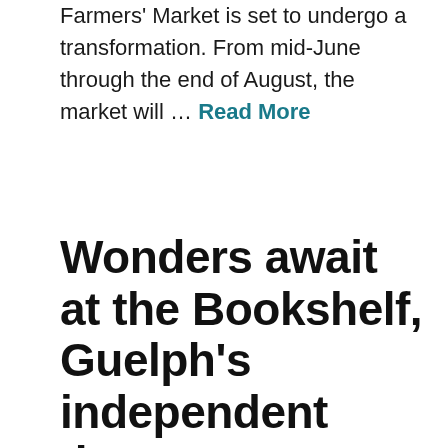Farmers' Market is set to undergo a transformation. From mid-June through the end of August, the market will … Read More
Wonders await at the Bookshelf, Guelph's independent theatre, bookstore